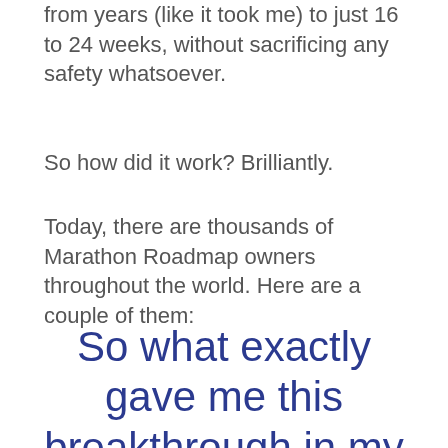from years (like it took me) to just 16 to 24 weeks, without sacrificing any safety whatsoever.
So how did it work? Brilliantly.
Today, there are thousands of Marathon Roadmap owners throughout the world. Here are a couple of them:
So what exactly gave me this breakthrough in my